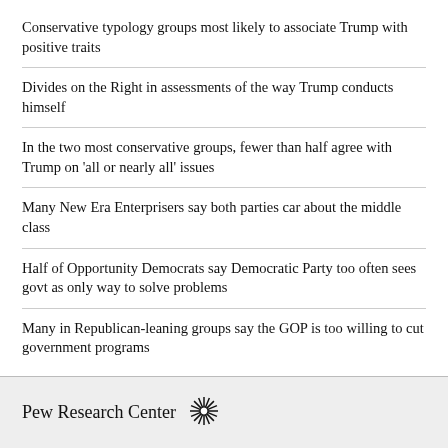Conservative typology groups most likely to associate Trump with positive traits
Divides on the Right in assessments of the way Trump conducts himself
In the two most conservative groups, fewer than half agree with Trump on 'all or nearly all' issues
Many New Era Enterprisers say both parties car about the middle class
Half of Opportunity Democrats say Democratic Party too often sees govt as only way to solve problems
Many in Republican-leaning groups say the GOP is too willing to cut government programs
Pew Research Center